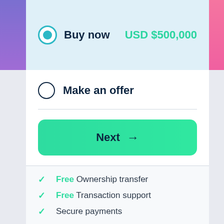Buy now   USD $500,000
Make an offer
Next →
Free Ownership transfer
Free Transaction support
Secure payments
[Figure (other): Payment method icons: VISA, Mastercard, PayPal, Alipay, Bitcoin]